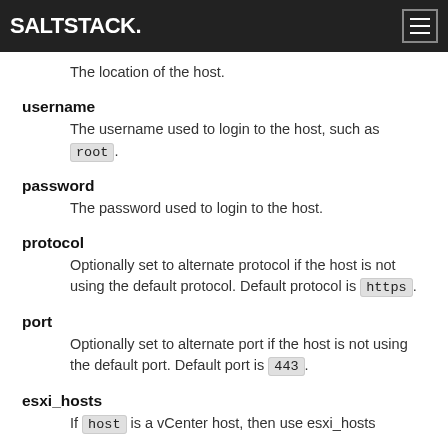SALTSTACK
The location of the host.
username
The username used to login to the host, such as root.
password
The password used to login to the host.
protocol
Optionally set to alternate protocol if the host is not using the default protocol. Default protocol is https.
port
Optionally set to alternate port if the host is not using the default port. Default port is 443.
esxi_hosts
If host is a vCenter host, then use esxi_hosts